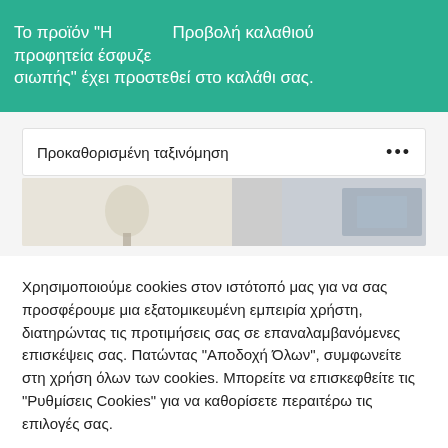Το προϊόν "Η προφητεία έσφυζε σιωπής" έχει προστεθεί στο καλάθι σας.   Προβολή καλαθιού
Προκαθορισμένη ταξινόμηση   •••
[Figure (screenshot): Two partially visible product thumbnail images side by side]
Χρησιμοποιούμε cookies στον ιστότοπό μας για να σας προσφέρουμε μια εξατομικευμένη εμπειρία χρήστη, διατηρώντας τις προτιμήσεις σας σε επαναλαμβανόμενες επισκέψεις σας. Πατώντας "Αποδοχή Όλων", συμφωνείτε στη χρήση όλων των cookies. Μπορείτε να επισκεφθείτε τις "Ρυθμίσεις Cookies" για να καθορίσετε περαιτέρω τις επιλογές σας.
Ρυθμίσεις Cookies
Αποδοχή Όλων